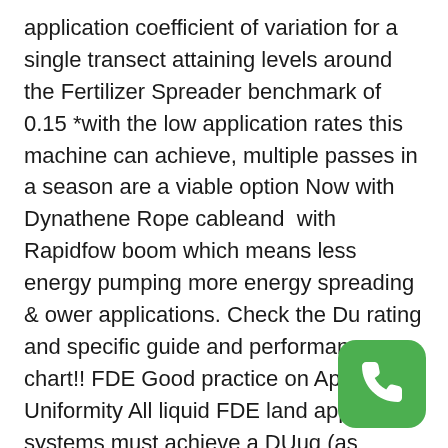application coefficient of variation for a single transect attaining levels around the Fertilizer Spreader benchmark of 0.15 *with the low application rates this machine can achieve, multiple passes in a season are a viable option Now with Dynathene Rope cableand  with Rapidfow boom which means less energy pumping more energy spreading & ower applications. Check the Du rating and specific guide and performance chart!! FDE Good practice on Application Uniformity All liquid FDE land application systems must achieve a DUuq (as defined in the accompanying FDE Design Code of Practice) of no greater than 1.25.
[Figure (logo): Green rounded square icon with a white telephone handset symbol]